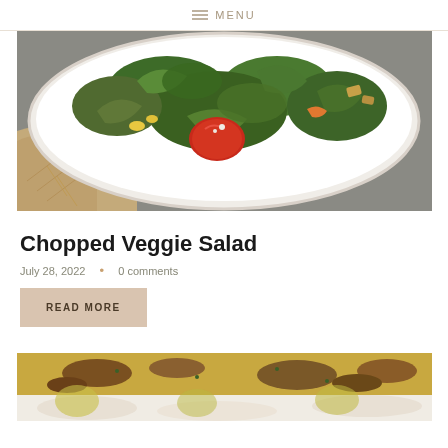≡ MENU
[Figure (photo): Overhead photo of a large white bowl filled with chopped romaine lettuce, red peppers, corn, and other colorful vegetables, placed on a tan woven cloth against a gray background.]
Chopped Veggie Salad
July 28, 2022  •  0 comments
READ MORE
[Figure (photo): Partial photo showing a baked or grilled dish with golden-brown topping, partially visible at the bottom of the page.]